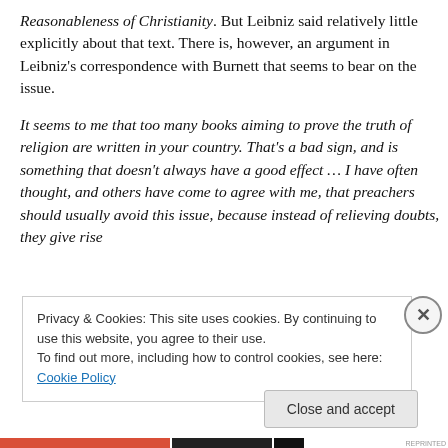Reasonableness of Christianity. But Leibniz said relatively little explicitly about that text. There is, however, an argument in Leibniz's correspondence with Burnett that seems to bear on the issue.
It seems to me that too many books aiming to prove the truth of religion are written in your country. That's a bad sign, and is something that doesn't always have a good effect … I have often thought, and others have come to agree with me, that preachers should usually avoid this issue, because instead of relieving doubts, they give rise
Privacy & Cookies: This site uses cookies. By continuing to use this website, you agree to their use.
To find out more, including how to control cookies, see here: Cookie Policy
Close and accept